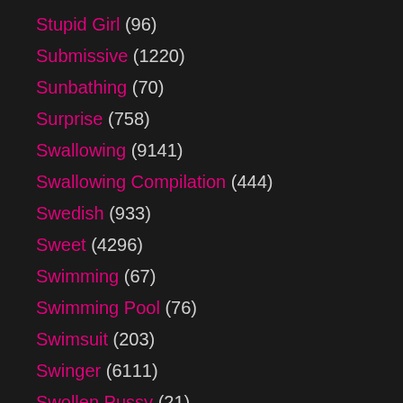Stupid Girl (96)
Submissive (1220)
Sunbathing (70)
Surprise (758)
Swallowing (9141)
Swallowing Compilation (444)
Swedish (933)
Sweet (4296)
Swimming (67)
Swimming Pool (76)
Swimsuit (203)
Swinger (6111)
Swollen Pussy (21)
Sybian (290)
T-girl (1474)